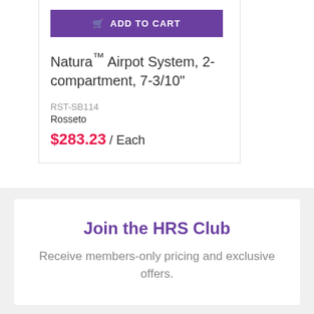ADD TO CART
Natura™ Airpot System, 2-compartment, 7-3/10"
RST-SB114
Rosseto
$283.23 / Each
Join the HRS Club
Receive members-only pricing and exclusive offers.